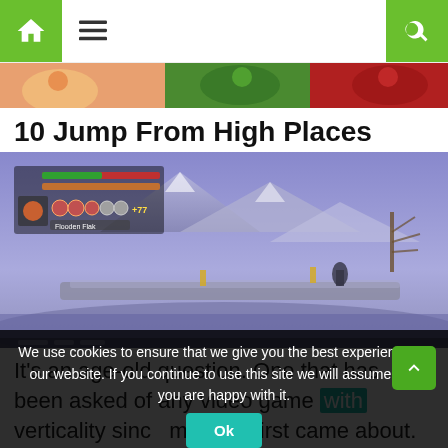Navigation bar with home icon, menu icon, and search icon
[Figure (illustration): Colorful banner/header image with cartoon characters on orange, green, and red backgrounds]
10 Jump From High Places
[Figure (screenshot): Video game screenshot showing a wintry/snowy landscape with purple-blue sky, mountains, a bridge structure, and a HUD overlay in the top left showing health/resource bars and item icons]
It's an age-old question. One that has been asked of any video game with verticality since the medium first came about. Do you think this game
We use cookies to ensure that we give you the best experience on our website. If you continue to use this site we will assume that you are happy with it. Ok